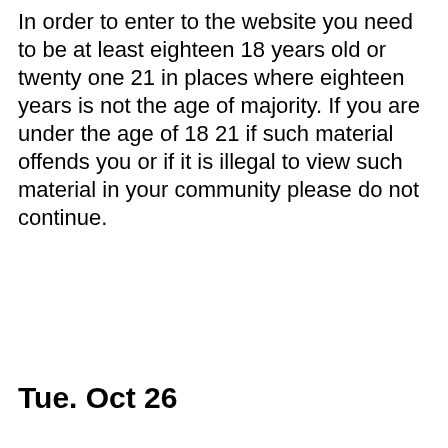In order to enter to the website you need to be at least eighteen 18 years old or twenty one 21 in places where eighteen years is not the age of majority. If you are under the age of 18 21 if such material offends you or if it is illegal to view such material in your community please do not continue.
Tue. Oct 26